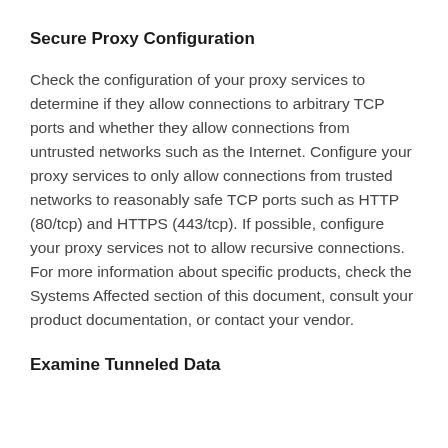Secure Proxy Configuration
Check the configuration of your proxy services to determine if they allow connections to arbitrary TCP ports and whether they allow connections from untrusted networks such as the Internet. Configure your proxy services to only allow connections from trusted networks to reasonably safe TCP ports such as HTTP (80/tcp) and HTTPS (443/tcp). If possible, configure your proxy services not to allow recursive connections. For more information about specific products, check the Systems Affected section of this document, consult your product documentation, or contact your vendor.
Examine Tunneled Data